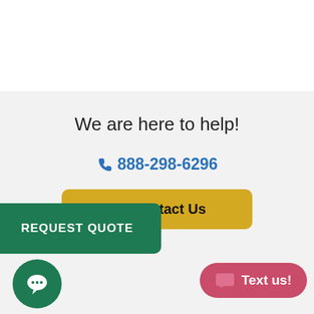We are here to help!
888-298-6296
Contact Us
REQUEST QUOTE
Text us!